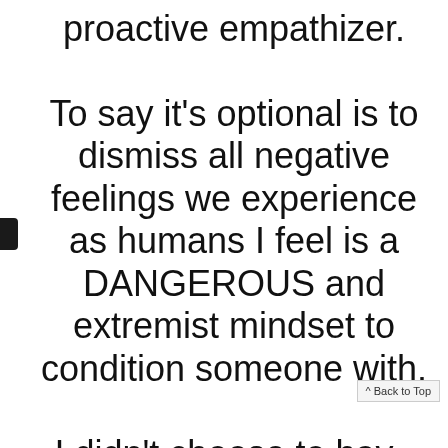proactive empathizer.

To say it's optional is to dismiss all negative feelings we experience as humans I feel is a DANGEROUS and extremist mindset to condition someone with.

I didn't choose to have
^ Back to Top